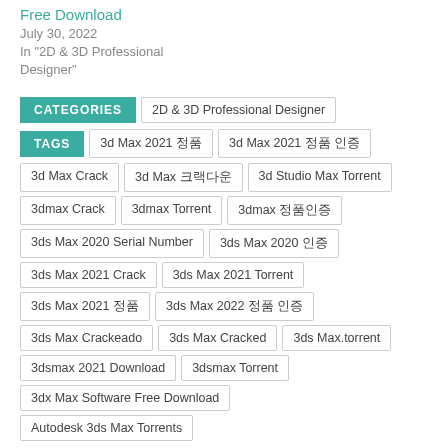Free Download
July 30, 2022
In "2D & 3D Professional Designer"
CATEGORIES: 2D & 3D Professional Designer
TAGS: 3d Max 2021 정품, 3d Max 2021 정품 인증, 3d Max Crack, 3d Max 크랙다운, 3d Studio Max Torrent, 3dmax Crack, 3dmax Torrent, 3dmax 정품인증, 3ds Max 2020 Serial Number, 3ds Max 2020 인증, 3ds Max 2021 Crack, 3ds Max 2021 Torrent, 3ds Max 2021 정품, 3ds Max 2022 정품 인증, 3ds Max Crackeado, 3ds Max Cracked, 3ds Max.torrent, 3dsmax 2021 Download, 3dsmax Torrent, 3dx Max Software Free Download, Autodesk 3ds Max Torrents